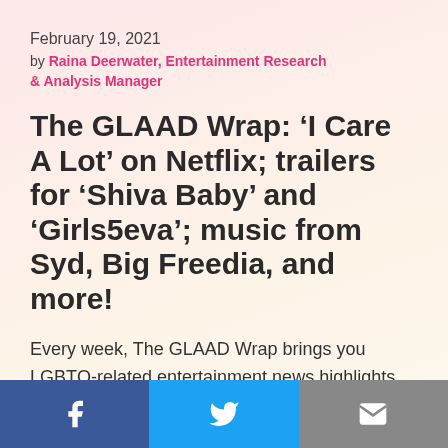February 19, 2021
by Raina Deerwater, Entertainment Research & Analysis Manager
The GLAAD Wrap: ‘I Care A Lot’ on Netflix; trailers for ‘Shiva Baby’ and ‘Girls5eva’; music from Syd, Big Freedia, and more!
Every week, The GLAAD Wrap brings you LGBTQ-related entertainment news highlights, fresh stuff to watch out for, and fun diversions to help you kick off the weekend.